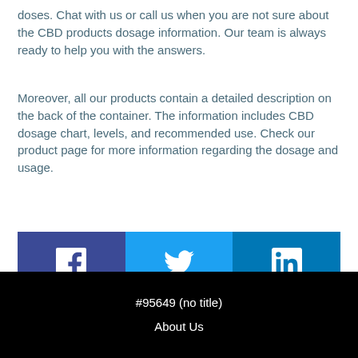doses. Chat with us or call us when you are not sure about the CBD products dosage information. Our team is always ready to help you with the answers.
Moreover, all our products contain a detailed description on the back of the container. The information includes CBD dosage chart, levels, and recommended use. Check our product page for more information regarding the dosage and usage.
[Figure (infographic): Social media sharing buttons: Facebook (dark blue), Twitter (light blue), LinkedIn (medium blue)]
#95649 (no title)
About Us